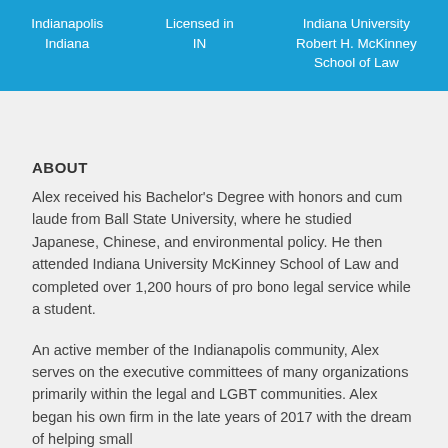Indianapolis Indiana | Licensed in IN | Indiana University Robert H. McKinney School of Law
ABOUT
Alex received his Bachelor's Degree with honors and cum laude from Ball State University, where he studied Japanese, Chinese, and environmental policy. He then attended Indiana University McKinney School of Law and completed over 1,200 hours of pro bono legal service while a student.
An active member of the Indianapolis community, Alex serves on the executive committees of many organizations primarily within the legal and LGBT communities. Alex began his own firm in the late years of 2017 with the dream of helping small